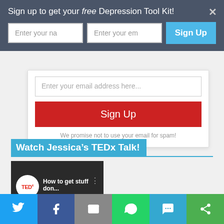Sign up to get your free Depression Tool Kit!
[Figure (screenshot): Sign-up form with name and email input fields and a blue Sign Up button]
[Figure (screenshot): Email address input field with placeholder text 'Enter your email address here...']
[Figure (screenshot): Red Sign Up button]
We promise not to use your email for spam!
Watch Jessica's TEDx Talk!
[Figure (screenshot): TEDx video thumbnail showing 'How to get stuff don...' with TEDx logo]
[Figure (screenshot): Social share bar with Twitter, Facebook, Email, WhatsApp, SMS, and Share icons]